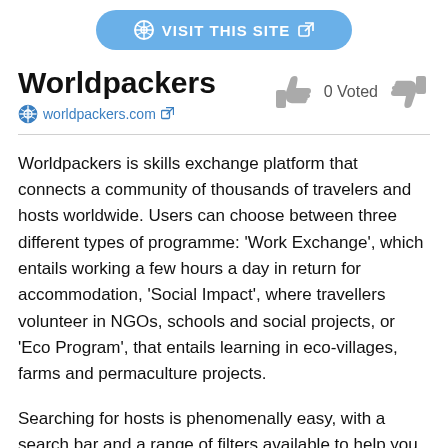[Figure (other): Blue rounded button with globe icon and external link icon, text: VISIT THIS SITE]
Worldpackers
worldpackers.com [external link icon]
[Figure (other): Thumbs up icon, 0 Voted text, thumbs down icon]
Worldpackkers is skills exchange platform that connects a community of thousands of travelers and hosts worldwide. Users can choose between three different types of programme: ‘Work Exchange’, which entails working a few hours a day in return for accommodation, ‘Social Impact’, where travellers volunteer in NGOs, schools and social projects, or ‘Eco Program’, that entails learning in eco-villages, farms and permaculture projects.
Searching for hosts is phenomenally easy, with a search bar and a range of filters available to help you quickly narrow down results to match your preferences. You can choose from